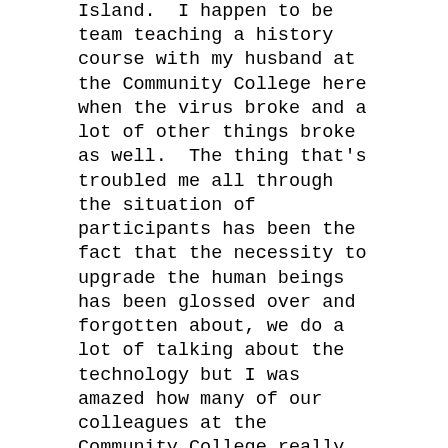Island.  I happen to be team teaching a history course with my husband at the Community College here when the virus broke and a lot of other things broke as well.  The thing that's troubled me all through the situation of participants has been the fact that the necessity to upgrade the human beings has been glossed over and forgotten about, we do a lot of talking about the technology but I was amazed how many of our colleagues at the Community College really were not digitally literate, how many of the students, young people are supposed to be -- they know it all, but they don't.  They got lost and stuck as well, they